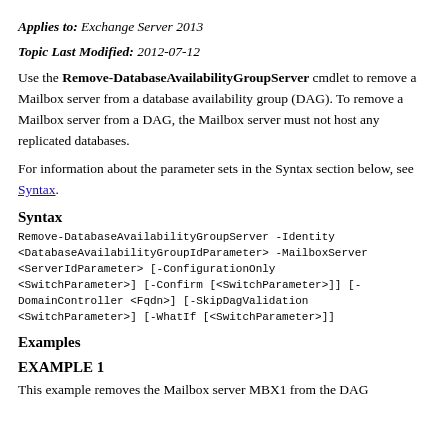Applies to: Exchange Server 2013
Topic Last Modified: 2012-07-12
Use the Remove-DatabaseAvailabilityGroupServer cmdlet to remove a Mailbox server from a database availability group (DAG). To remove a Mailbox server from a DAG, the Mailbox server must not host any replicated databases.
For information about the parameter sets in the Syntax section below, see Syntax.
Syntax
Remove-DatabaseAvailabilityGroupServer -Identity <DatabaseAvailabilityGroupIdParameter> -MailboxServer <ServerIdParameter> [-ConfigurationOnly <SwitchParameter>] [-Confirm [<SwitchParameter>]] [-DomainController <Fqdn>] [-SkipDagValidation <SwitchParameter>] [-WhatIf [<SwitchParameter>]]
Examples
EXAMPLE 1
This example removes the Mailbox server MBX1 from the DAG